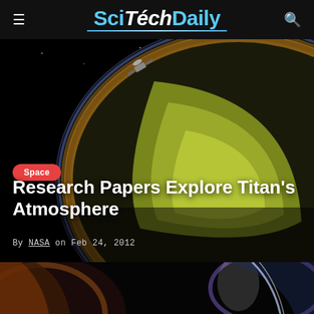SciTechDaily
[Figure (photo): Space illustration showing a cross-section of Titan's interior/atmosphere with Cassini spacecraft visible in upper area, against black space background]
Space
Research Papers Explore Titan's Atmosphere
By NASA on Feb 24, 2012
[Figure (photo): Bottom strip showing space/planet imagery with colorful atmospheric glow effects]